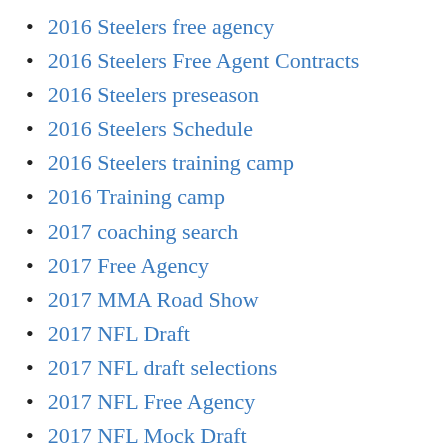2016 Steelers free agency
2016 Steelers Free Agent Contracts
2016 Steelers preseason
2016 Steelers Schedule
2016 Steelers training camp
2016 Training camp
2017 coaching search
2017 Free Agency
2017 MMA Road Show
2017 NFL Draft
2017 NFL draft selections
2017 NFL Free Agency
2017 NFL Mock Draft
2017 NFL Preseason
2017 NFL season
2017 Offseason